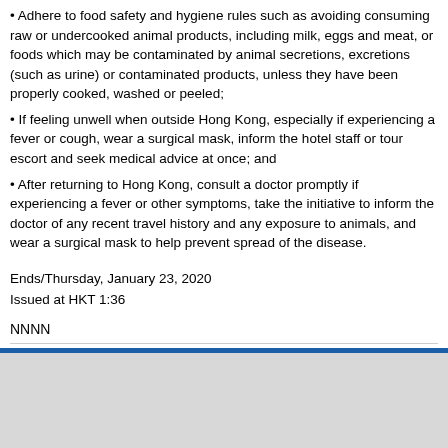• Adhere to food safety and hygiene rules such as avoiding consuming raw or undercooked animal products, including milk, eggs and meat, or foods which may be contaminated by animal secretions, excretions (such as urine) or contaminated products, unless they have been properly cooked, washed or peeled;
• If feeling unwell when outside Hong Kong, especially if experiencing a fever or cough, wear a surgical mask, inform the hotel staff or tour escort and seek medical advice at once; and
• After returning to Hong Kong, consult a doctor promptly if experiencing a fever or other symptoms, take the initiative to inform the doctor of any recent travel history and any exposure to animals, and wear a surgical mask to help prevent spread of the disease.
Ends/Thursday, January 23, 2020
Issued at HKT 1:36
NNNN
Archives   Yesterday's Press Releases
Back to Index Page   Back to top
Today's Press Releases